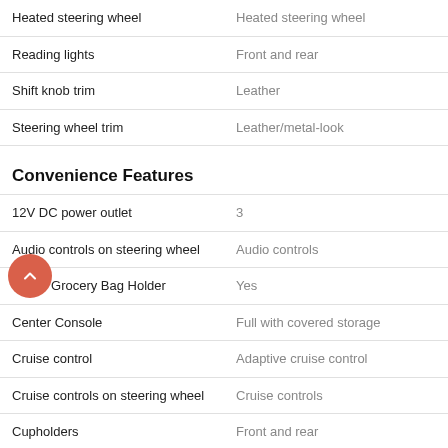| Feature | Value |
| --- | --- |
| Heated steering wheel | Heated steering wheel |
| Reading lights | Front and rear |
| Shift knob trim | Leather |
| Steering wheel trim | Leather/metal-look |
Convenience Features
| Feature | Value |
| --- | --- |
| 12V DC power outlet | 3 |
| Audio controls on steering wheel | Audio controls |
| Cargo Grocery Bag Holder | Yes |
| Center Console | Full with covered storage |
| Cruise control | Adaptive cruise control |
| Cruise controls on steering wheel | Cruise controls |
| Cupholders | Front and rear |
| Door pockets | Driver, passenger and rear |
| Overhead console | Mini with storage |
| Power Activated Trunk/Hatch | Power liftgate |